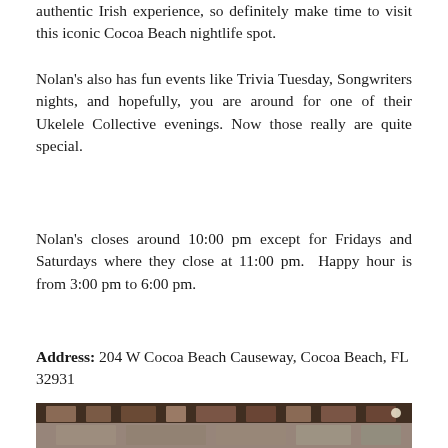authentic Irish experience, so definitely make time to visit this iconic Cocoa Beach nightlife spot.
Nolan's also has fun events like Trivia Tuesday, Songwriters nights, and hopefully, you are around for one of their Ukelele Collective evenings. Now those really are quite special.
Nolan's closes around 10:00 pm except for Fridays and Saturdays where they close at 11:00 pm.  Happy hour is from 3:00 pm to 6:00 pm.
Address: 204 W Cocoa Beach Causeway, Cocoa Beach, FL 32931
[Figure (photo): Interior photo of Nolan's bar at Cocoa Beach showing bar shelves, memorabilia, and framed pictures on walls]